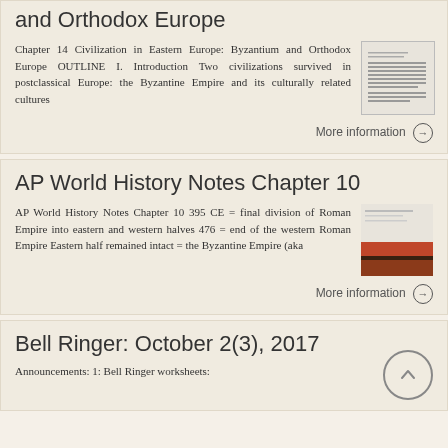and Orthodox Europe
Chapter 14 Civilization in Eastern Europe: Byzantium and Orthodox Europe OUTLINE I. Introduction Two civilizations survived in postclassical Europe: the Byzantine Empire and its culturally related cultures
More information →
AP World History Notes Chapter 10
AP World History Notes Chapter 10 395 CE = final division of Roman Empire into eastern and western halves 476 = end of the western Roman Empire Eastern half remained intact = the Byzantine Empire (aka
More information →
Bell Ringer: October 2(3), 2017
Announcements: 1: Bell Ringer worksheets: